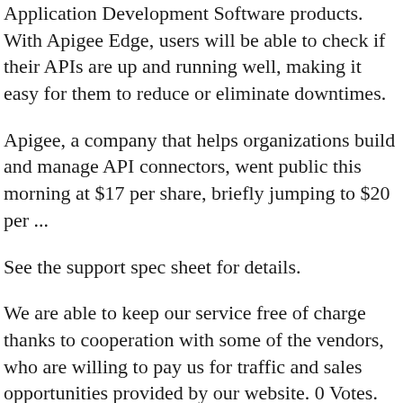Application Development Software products. With Apigee Edge, users will be able to check if their APIs are up and running well, making it easy for them to reduce or eliminate downtimes.
Apigee, a company that helps organizations build and manage API connectors, went public this morning at $17 per share, briefly jumping to $20 per ...
See the support spec sheet for details.
We are able to keep our service free of charge thanks to cooperation with some of the vendors, who are willing to pay us for traffic and sales opportunities provided by our website. 0 Votes.